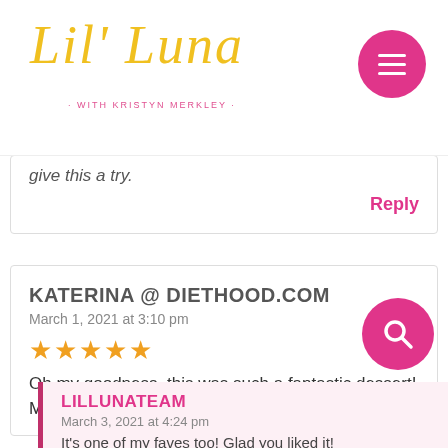[Figure (logo): Lil' Luna script logo in yellow/gold with subtitle 'WITH KRISTYN MERKLEY' in pink]
give this a try.
Reply
KATERINA @ DIETHOOD.COM
March 1, 2021 at 3:10 pm
★★★★★
Oh my goodness, this was such a fantastic dessert! My faave!!
LILLUNATEAM
March 3, 2021 at 4:24 pm
It's one of my faves too! Glad you liked it!
Reply